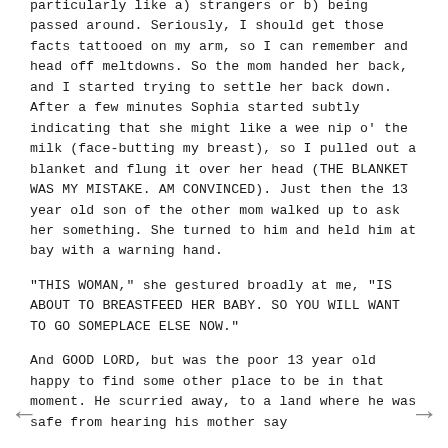particularly like a) strangers or b) being passed around. Seriously, I should get those facts tattooed on my arm, so I can remember and head off meltdowns. So the mom handed her back, and I started trying to settle her back down. After a few minutes Sophia started subtly indicating that she might like a wee nip o' the milk (face-butting my breast), so I pulled out a blanket and flung it over her head (THE BLANKET WAS MY MISTAKE. AM CONVINCED). Just then the 13 year old son of the other mom walked up to ask her something. She turned to him and held him at bay with a warning hand.
"THIS WOMAN," she gestured broadly at me, "IS ABOUT TO BREASTFEED HER BABY. SO YOU WILL WANT TO GO SOMEPLACE ELSE NOW."
And GOOD LORD, but was the poor 13 year old happy to find some other place to be in that moment. He scurried away, to a land where he was safe from hearing his mother say